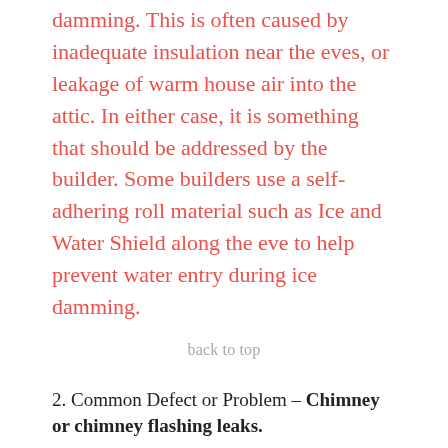damming. This is often caused by inadequate insulation near the eves, or leakage of warm house air into the attic. In either case, it is something that should be addressed by the builder. Some builders use a self-adhering roll material such as Ice and Water Shield along the eve to help prevent water entry during ice damming.
back to top
2. Common Defect or Problem – Chimney or chimney flashing leaks.
Performance Standard – Chimney or chimney flashing should not leak.